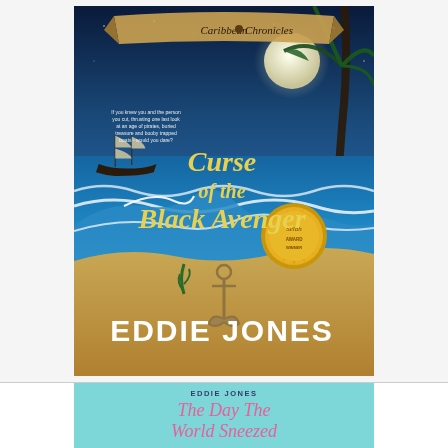[Figure (illustration): Book cover for 'Curse of the Black Avenger' by Eddie Jones. Part of the Caribbean Chronicles series. Features a nighttime Caribbean beach scene with a full moon, palm trees, crashing waves, a sailing ship in the distance, an anchor in the sand, and a gold award seal. Title text in golden letters, author name in large white letters at the bottom.]
[Figure (illustration): Partial book cover for 'The Day The World Sneezed' by Eddie Jones. Light blue/teal background with author name in small dark uppercase letters and title in large pink cursive script.]